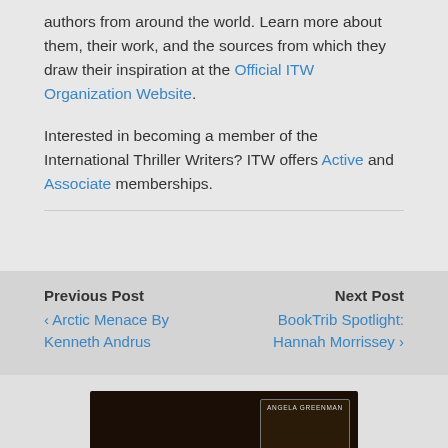authors from around the world. Learn more about them, their work, and the sources from which they draw their inspiration at the Official ITW Organization Website.
Interested in becoming a member of the International Thriller Writers? ITW offers Active and Associate memberships.
Previous Post
‹ Arctic Menace By Kenneth Andrus
Next Post
BookTrib Spotlight: Hannah Morrissey ›
[Figure (illustration): Book advertisement image with dark background showing text 'Her world is mostly perfect' and a book cover with author name Angela Greenman, featuring a woman and child.]